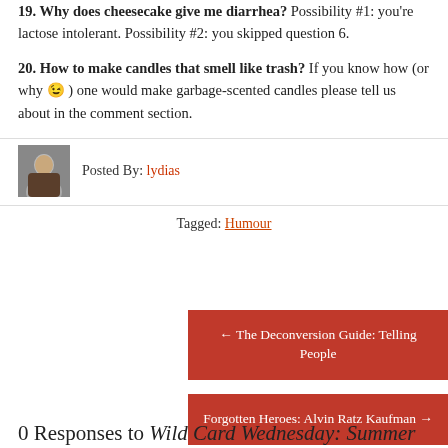19. Why does cheesecake give me diarrhea? Possibility #1: you're lactose intolerant. Possibility #2: you skipped question 6.
20. How to make candles that smell like trash? If you know how (or why 😉) one would make garbage-scented candles please tell us about in the comment section.
Posted By: lydias
Tagged: Humour
← The Deconversion Guide: Telling People
Forgotten Heroes: Alvin Ratz Kaufman →
0 Responses to Wild Card Wednesday: Summer